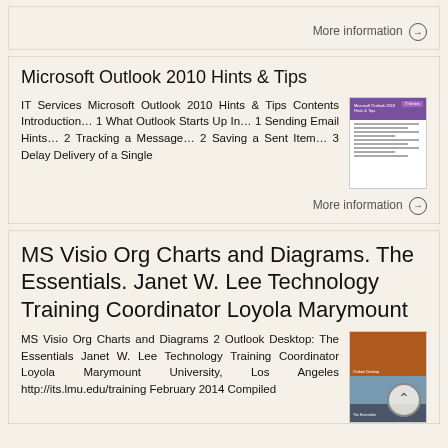More information →
Microsoft Outlook 2010 Hints & Tips
IT Services Microsoft Outlook 2010 Hints & Tips Contents Introduction… 1 What Outlook Starts Up In… 1 Sending Email Hints… 2 Tracking a Message… 2 Saving a Sent Item… 3 Delay Delivery of a Single
[Figure (illustration): Thumbnail image of Microsoft Outlook 2010 Hints & Tips document cover with purple header]
More information →
MS Visio Org Charts and Diagrams. The Essentials. Janet W. Lee Technology Training Coordinator Loyola Marymount
MS Visio Org Charts and Diagrams 2 Outlook Desktop: The Essentials Janet W. Lee Technology Training Coordinator Loyola Marymount University, Los Angeles http://its.lmu.edu/training February 2014 Compiled
[Figure (illustration): Thumbnail image of Outlook Desktop document cover with orange, blue and dark sections]